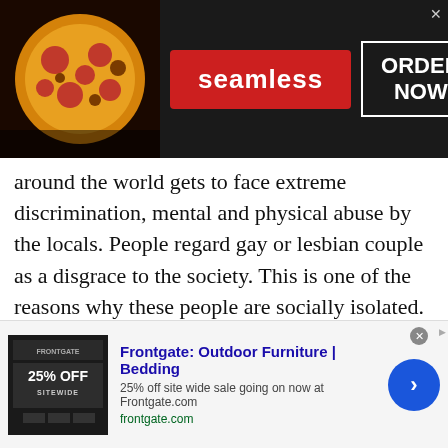[Figure (screenshot): Seamless food delivery advertisement banner with pizza image on left, red Seamless logo in center, and ORDER NOW box on right with X close button, on dark background]
around the world gets to face extreme discrimination, mental and physical abuse by the locals. People regard gay or lesbian couple as a disgrace to the society. This is one of the reasons why these people are socially isolated. Nobody likes to be friends with them or hangout with them. People often hesitate to invite them to their parties. However, at Talk with Stranger platform, everyone is treated equally. No one is given priority or less priority based on their gender. If you are a gay or a
[Figure (screenshot): Frontgate outdoor furniture and bedding advertisement. Shows product image with 25% OFF SITEWIDE text, headline 'Frontgate: Outdoor Furniture | Bedding', description '25% off site wide sale going on now at Frontgate.com', URL frontgate.com, and blue arrow button on right. X close button at top.]